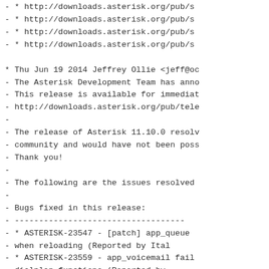-   * http://downloads.asterisk.org/pub/s
-   * http://downloads.asterisk.org/pub/s
-   * http://downloads.asterisk.org/pub/s
-   * http://downloads.asterisk.org/pub/s
* Thu Jun 19 2014 Jeffrey Ollie <jeff@oc
- The Asterisk Development Team has anno
- This release is available for immediat
- http://downloads.asterisk.org/pub/tele
-
- The release of Asterisk 11.10.0 resolv
- community and would have not been poss
- Thank you!
-
- The following are the issues resolved
-
- Bugs fixed in this release:
- -----------------------------------
-   * ASTERISK-23547 - [patch] app_queue
-       when reloading (Reported by Ital
-   * ASTERISK-23559 - app_voicemail fail
-       dialplan functions (Reported by
-   * ASTERISK-22846 - testsuite: masquer
-       branches (still) (Reported by Ma